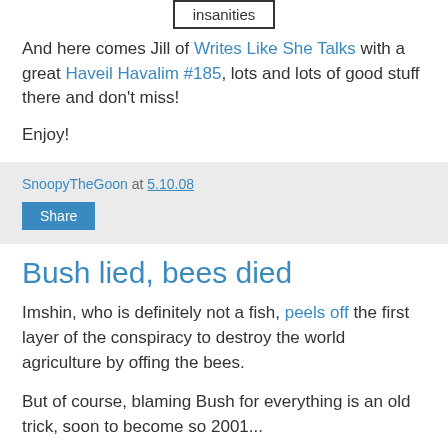[Figure (screenshot): Bordered box with text 'insanities']
And here comes Jill of Writes Like She Talks with a great Haveil Havalim #185, lots and lots of good stuff there and don't miss!
Enjoy!
SnoopyTheGoon at 5.10.08
Share
Bush lied, bees died
Imshin, who is definitely not a fish, peels off the first layer of the conspiracy to destroy the world agriculture by offing the bees.
But of course, blaming Bush for everything is an old trick, soon to become so 2001...